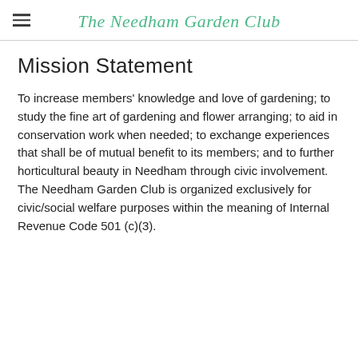The Needham Garden Club
Mission Statement
To increase members' knowledge and love of gardening; to study the fine art of gardening and flower arranging; to aid in conservation work when needed; to exchange experiences that shall be of mutual benefit to its members; and to further horticultural beauty in Needham through civic involvement. The Needham Garden Club is organized exclusively for civic/social welfare purposes within the meaning of Internal Revenue Code 501 (c)(3).